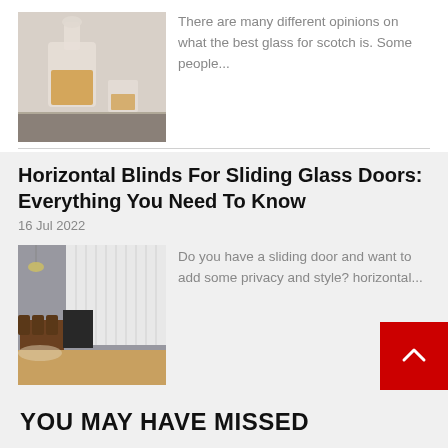[Figure (photo): A whisky decanter and glass on a dark surface]
There are many different opinions on what the best glass for scotch is. Some people...
Horizontal Blinds For Sliding Glass Doors: Everything You Need To Know
16 Jul 2022
[Figure (photo): A room with vertical blinds on a sliding glass door, dining table and chairs, and a TV]
Do you have a sliding door and want to add some privacy and style? horizontal...
YOU MAY HAVE MISSED